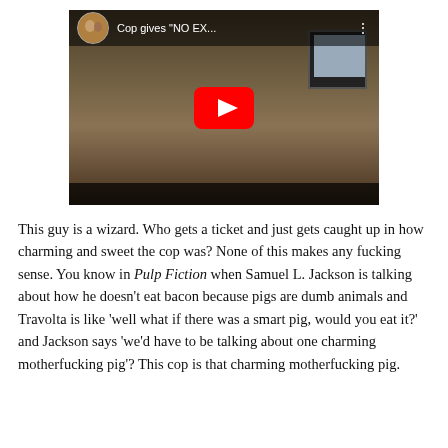[Figure (screenshot): YouTube video thumbnail showing a police officer/sheriff sitting at a desk in an office. The video title reads 'Cop gives "NO EX...' with a YouTube play button overlay. A profile picture of two people appears in the top-left corner of the video.]
This guy is a wizard. Who gets a ticket and just gets caught up in how charming and sweet the cop was? None of this makes any fucking sense. You know in Pulp Fiction when Samuel L. Jackson is talking about how he doesn't eat bacon because pigs are dumb animals and Travolta is like 'well what if there was a smart pig, would you eat it?' and Jackson says 'we'd have to be talking about one charming motherfucking pig'? This cop is that charming motherfucking pig.